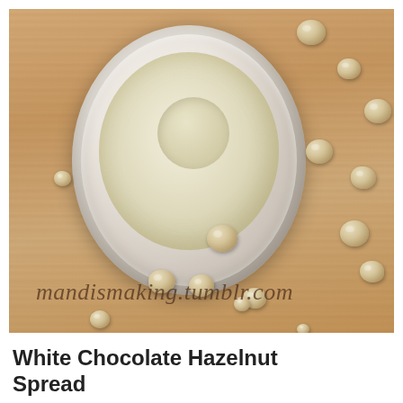[Figure (photo): Top-down view of a glass jar filled with white chocolate hazelnut spread, surrounded by scattered whole hazelnuts on a wooden cutting board surface. The text 'mandismaking.tumblr.com' is overlaid on the photo in a handwritten/cursive style.]
White Chocolate Hazelnut Spread